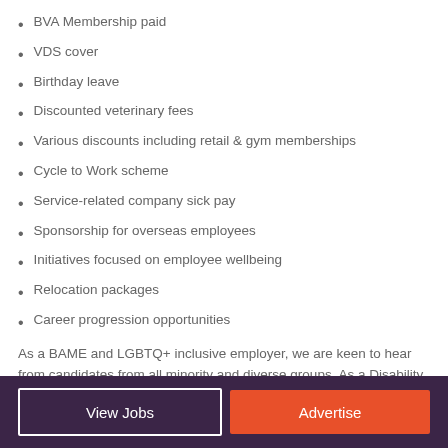BVA Membership paid
VDS cover
Birthday leave
Discounted veterinary fees
Various discounts including retail & gym memberships
Cycle to Work scheme
Service-related company sick pay
Sponsorship for overseas employees
Initiatives focused on employee wellbeing
Relocation packages
Career progression opportunities
As a BAME and LGBTQ+ inclusive employer, we are keen to hear from candidates from all minority and diverse groups. As a Disability Confident Employer, we are keen to hear from candidates with disabilities and long-term health conditions and would be happy to discuss any reasonable adjustments needed during the recruitment process.
View Jobs | Advertise